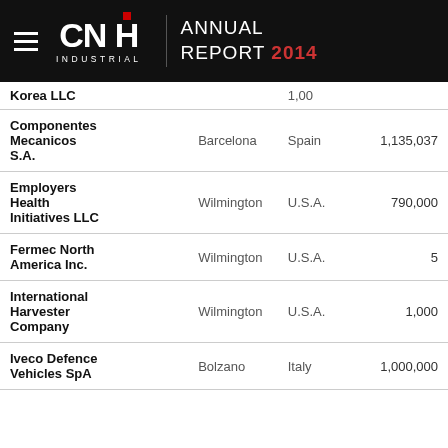CNH Industrial Annual Report 2014
| Company | City | Country | Shares |
| --- | --- | --- | --- |
| Korea LLC |  |  | 1,00 |
| Componentes Mecanicos S.A. | Barcelona | Spain | 1,135,037 |
| Employers Health Initiatives LLC | Wilmington | U.S.A. | 790,000 |
| Fermec North America Inc. | Wilmington | U.S.A. | 5 |
| International Harvester Company | Wilmington | U.S.A. | 1,000 |
| Iveco Defence Vehicles SpA | Bolzano | Italy | 1,000,000 |